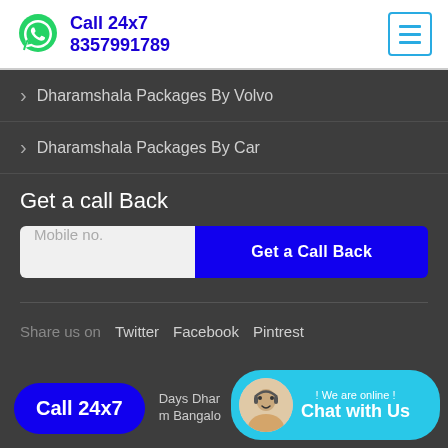Call 24x7 8357991789
Dharamshala Packages By Volvo
Dharamshala Packages By Car
Get a call Back
Mobile no. | Get a Call Back
Share us on Twitter Facebook Pintrest
Call 24x7 | Days Dhar... m Bangalo...
! We are online ! Chat with Us